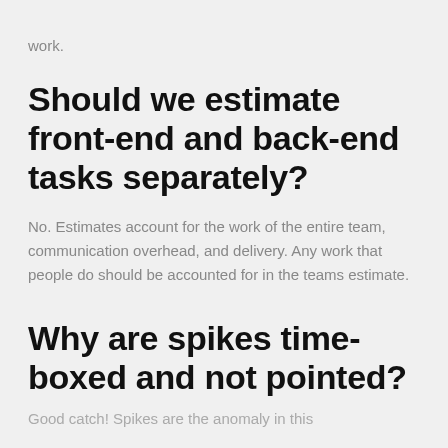work.
Should we estimate front-end and back-end tasks separately?
No. Estimates account for the work of the entire team, communication overhead, and delivery. Any work that people do should be accounted for in the teams estimate.
Why are spikes time-boxed and not pointed?
Good catch! Spikes are the anomaly in this